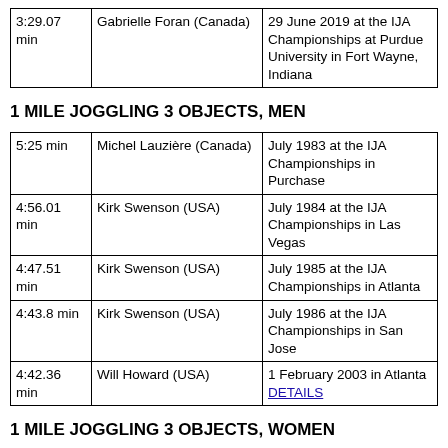| 3:29.07 min | Gabrielle Foran (Canada) | 29 June 2019 at the IJA Championships at Purdue University in Fort Wayne, Indiana |
1 MILE JOGGLING 3 OBJECTS, MEN
| 5:25 min | Michel Lauzière (Canada) | July 1983 at the IJA Championships in Purchase |
| 4:56.01 min | Kirk Swenson (USA) | July 1984 at the IJA Championships in Las Vegas |
| 4:47.51 min | Kirk Swenson (USA) | July 1985 at the IJA Championships in Atlanta |
| 4:43.8 min | Kirk Swenson (USA) | July 1986 at the IJA Championships in San Jose |
| 4:42.36 min | Will Howard (USA) | 1 February 2003 in Atlanta DETAILS |
1 MILE JOGGLING 3 OBJECTS, WOMEN
| 8:48... | Tina Foran (USA) | July 1988 at the IJA... |